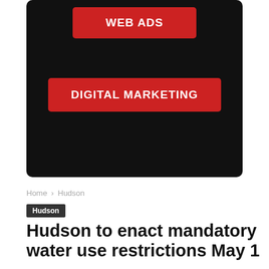[Figure (screenshot): Black rounded rectangle advertisement banner with two red buttons: 'WEB ADS' and 'DIGITAL MARKETING']
Home › Hudson
Hudson
Hudson to enact mandatory water use restrictions May 1
By Community Advocate - April 12, 2012